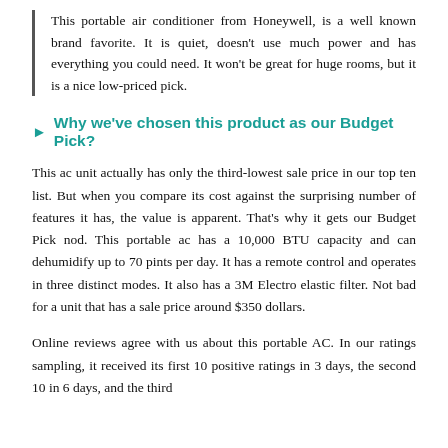This portable air conditioner from Honeywell, is a well known brand favorite. It is quiet, doesn't use much power and has everything you could need. It won't be great for huge rooms, but it is a nice low-priced pick.
Why we've chosen this product as our Budget Pick?
This ac unit actually has only the third-lowest sale price in our top ten list. But when you compare its cost against the surprising number of features it has, the value is apparent. That's why it gets our Budget Pick nod. This portable ac has a 10,000 BTU capacity and can dehumidify up to 70 pints per day. It has a remote control and operates in three distinct modes. It also has a 3M Electro elastic filter. Not bad for a unit that has a sale price around $350 dollars.
Online reviews agree with us about this portable AC. In our ratings sampling, it received its first 10 positive ratings in 3 days, the second 10 in 6 days, and the third